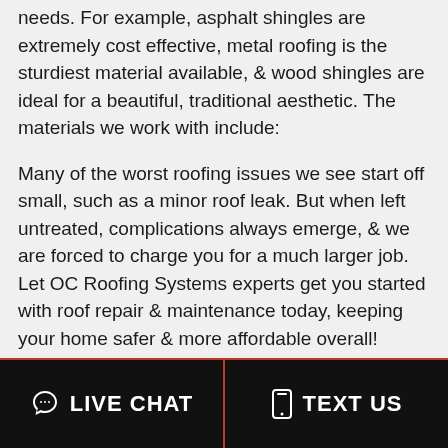needs. For example, asphalt shingles are extremely cost effective, metal roofing is the sturdiest material available, & wood shingles are ideal for a beautiful, traditional aesthetic. The materials we work with include:
Many of the worst roofing issues we see start off small, such as a minor roof leak. But when left untreated, complications always emerge, & we are forced to charge you for a much larger job. Let OC Roofing Systems experts get you started with roof repair & maintenance today, keeping your home safer & more affordable overall!
LIVE CHAT   TEXT US